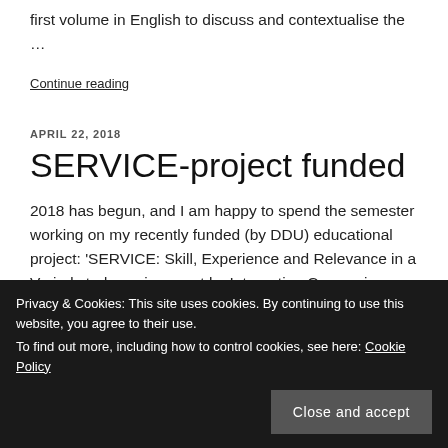first volume in English to discuss and contextualise the …
Continue reading
APRIL 22, 2018
SERVICE-project funded
2018 has begun, and I am happy to spend the semester working on my recently funded (by DDU) educational project: 'SERVICE: Skill, Experience and Relevance in a Varied study environment by Integrating Canvas in Education.' The project will mark the beginning of a new era for our Master students
Privacy & Cookies: This site uses cookies. By continuing to use this website, you agree to their use.
To find out more, including how to control cookies, see here: Cookie Policy
Close and accept